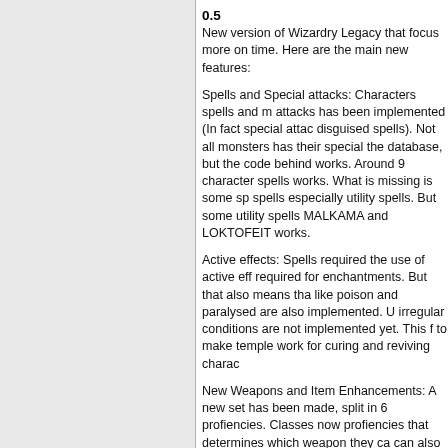0.5
New version of Wizardry Legacy that focus more on time. Here are the main new features:
Spells and Special attacks: Characters spells and m attacks has been implemented (In fact special attacks disguised spells). Not all monsters has their special the database, but the code behind works. Around 95 character spells works. What is missing is some spe spells especially utility spells. But some utility spells MALKAMA and LOKTOFEIT works.
Active effects: Spells required the use of active effe required for enchantments. But that also means that like poison and paralysed are also implemented. Un irregular conditions are not implemented yet. This fo to make temple work for curing and reviving charact.
New Weapons and Item Enhancements: A new set o has been made, split in 6 profiencies. Classes now h profiencies that determines which weapon they can can also have elemental property or other magical m There can also be a "short" and "great" variation of t weapons giving a huge variety of effects. Usable iter working.
SQL enhancement and StringFields: These are mor upgrades. The data objects does not need any varia In fact there is a table holding all the SQl field inform allow data object to read and write theselves from th